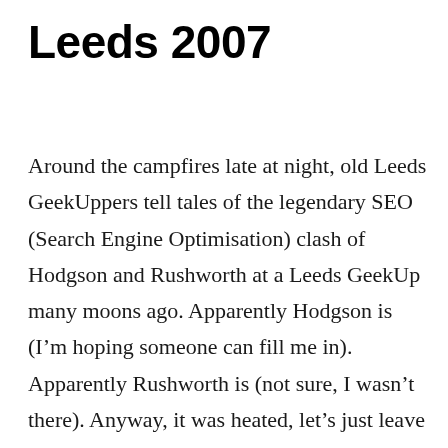Leeds 2007
Around the campfires late at night, old Leeds GeekUppers tell tales of the legendary SEO (Search Engine Optimisation) clash of Hodgson and Rushworth at a Leeds GeekUp many moons ago. Apparently Hodgson is (I’m hoping someone can fill me in). Apparently Rushworth is (not sure, I wasn’t there). Anyway, it was heated, let’s just leave …